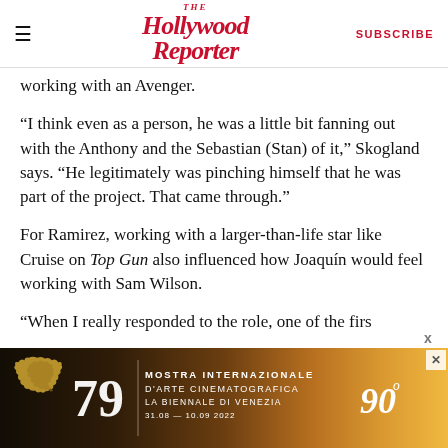The Hollywood Reporter | SUBSCRIBE
working with an Avenger.
“I think even as a person, he was a little bit fanning out with the Anthony and the Sebastian (Stan) of it,” Skogland says. “He legitimately was pinching himself that he was part of the project. That came through.”
For Ramirez, working with a larger-than-life star like Cruise on Top Gun also influenced how Joaquín would feel working with Sam Wilson.
“When I really responded to the role, one of the firs…
[Figure (infographic): Advertisement banner for 79th Mostra Internazionale D'Arte Cinematografica La Biennale Di Venezia, 31.08 - 10.09 2022, with lion logo and golden background, 90th anniversary marking.]